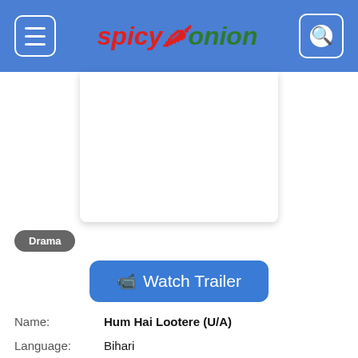SpicyOnion – menu and search header
[Figure (other): Video/advertisement placeholder box below header]
Drama
📹 Watch Trailer
Name: Hum Hai Lootere (U/A)
Language: Bihari
Cast: Pawan Singh , Akshara Singh & more
Director: Raju
Music Director: Avinash Jha